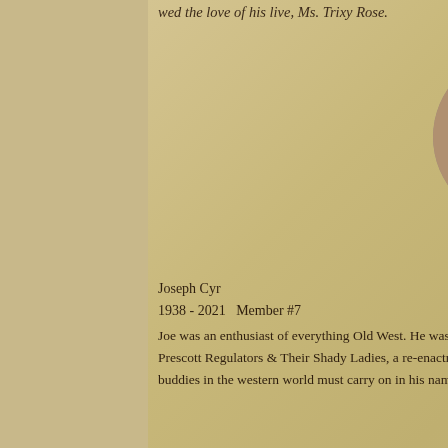wed the love of his live, Ms. Trixy Rose.
[Figure (photo): Circular portrait photo of Joe Renegade (Joseph Cyr), an older man wearing a wide-brimmed western hat and glasses, with long hair, dressed in dark western clothing with a scarf.]
Joe Renegade
Joseph Cyr
1938 - 2021   Member #7
Joe was an enthusiast of everything Old West. He was a member of the Mojave Muleskinners for 26 years. He was also active in the Prescott Regulators & Their Shady Ladies, a re-enactment group in Prescott. Joe was always known for his love of cigars. His buddies in the western world must carry on in his name. Joe proudly served in